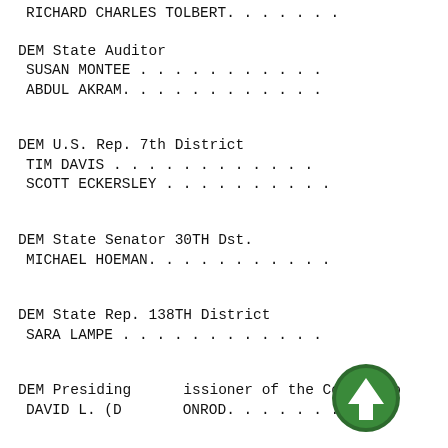RICHARD CHARLES TOLBERT. . . . . . .
DEM State Auditor
SUSAN MONTEE . . . . . . . . . . .
ABDUL AKRAM. . . . . . . . . . . .
DEM U.S. Rep. 7th District
TIM DAVIS . . . . . . . . . . . .
SCOTT ECKERSLEY . . . . . . . . . .
DEM State Senator 30TH Dst.
MICHAEL HOEMAN. . . . . . . . . . .
DEM State Rep. 138TH District
SARA LAMPE . . . . . . . . . . . .
DEM Presiding Commissioner of the County Co
DAVID L. (DA[icon]ONROD. . . . . . .
[Figure (illustration): Green circular button with white upward-pointing arrow icon, overlaid on text]